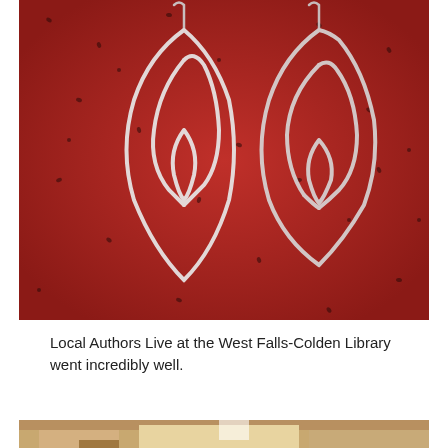[Figure (photo): Close-up photo of two silver twisted wire earrings on a red speckled granite surface. The earrings have an ornate leaf/diamond spiral shape made from hammered sterling silver wire.]
Local Authors Live at the West Falls-Colden Library went incredibly well.
[Figure (photo): Partial view of a photo showing what appears to be an indoor scene, possibly a library interior, cropped at the bottom of the page.]